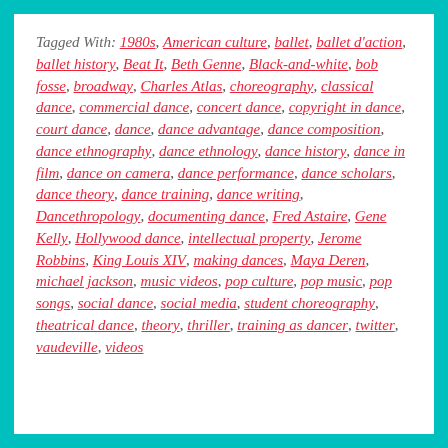Tagged With: 1980s, American culture, ballet, ballet d'action, ballet history, Beat It, Beth Genne, Black-and-white, bob fosse, broadway, Charles Atlas, choreography, classical dance, commercial dance, concert dance, copyright in dance, court dance, dance, dance advantage, dance composition, dance ethnography, dance ethnology, dance history, dance in film, dance on camera, dance performance, dance scholars, dance theory, dance training, dance writing, Dancethropology, documenting dance, Fred Astaire, Gene Kelly, Hollywood dance, intellectual property, Jerome Robbins, King Louis XIV, making dances, Maya Deren, michael jackson, music videos, pop culture, pop music, pop songs, social dance, social media, student choreography, theatrical dance, theory, thriller, training as dancer, twitter, vaudeville, videos